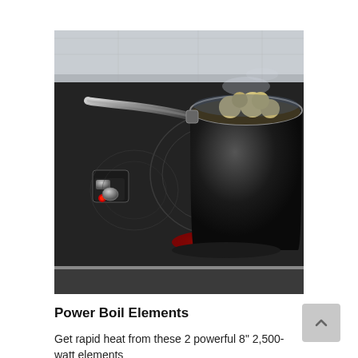[Figure (photo): A black electric cooktop with a stainless steel and black saucepan boiling mushrooms, with a glowing red power boil element underneath and a control knob visible on the left side.]
Power Boil Elements
Get rapid heat from these 2 powerful 8" 2,500-watt elements